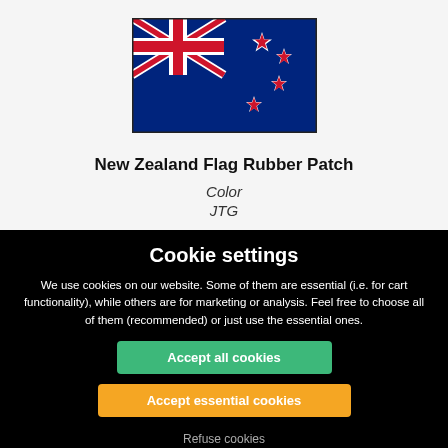[Figure (photo): New Zealand flag rubber patch product image showing the New Zealand flag with Union Jack and Southern Cross stars on dark navy background]
New Zealand Flag Rubber Patch
Color
JTG
Cookie settings
We use cookies on our website. Some of them are essential (i.e. for cart functionality), while others are for marketing or analysis. Feel free to choose all of them (recommended) or just use the essential ones.
Accept all cookies
Accept essential cookies
Refuse cookies